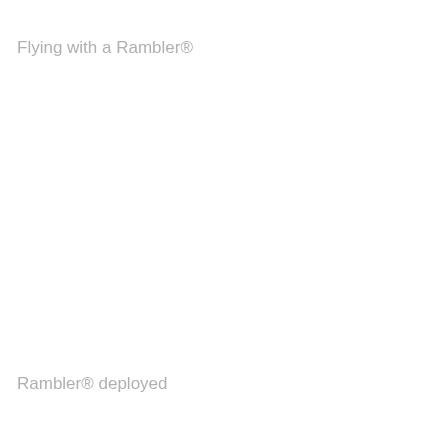Flying with a Rambler®
Rambler® deployed